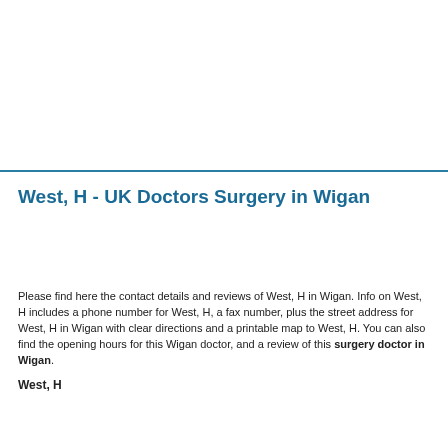West, H - UK Doctors Surgery in Wigan
Please find here the contact details and reviews of West, H in Wigan. Info on West, H includes a phone number for West, H, a fax number, plus the street address for West, H in Wigan with clear directions and a printable map to West, H. You can also find the opening hours for this Wigan doctor, and a review of this surgery doctor in Wigan.
West, H